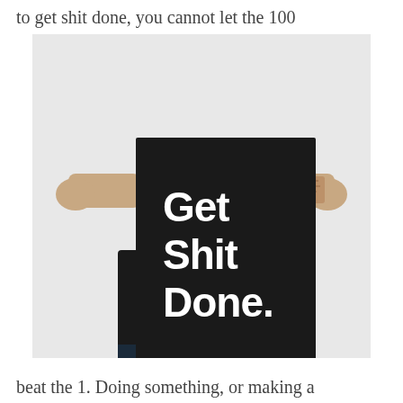to get shit done, you cannot let the 100
[Figure (photo): A person holding a large black poster that reads 'Get Shit Done.' in bold white sans-serif text. The person is wearing a black t-shirt and has a tattoo visible on their right forearm.]
beat the 1. Doing something, or making a